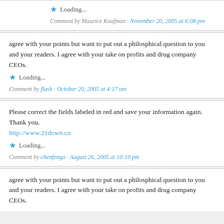Loading...
Comment by Maurice Kaufman · November 20, 2005 at 6:08 pm
agree with your points but want to put out a philosphical question to you and your readers. I agree with your take on profits and drug company CEOs.
Loading...
Comment by flash · October 20, 2005 at 4:17 am
Please correct the fields labeled in red and save your information again. Thank you. http://www.21down.cn
Loading...
Comment by chenfenga · August 26, 2005 at 10:10 pm
agree with your points but want to put out a philosphical question to you and your readers. I agree with your take on profits and drug company CEOs.